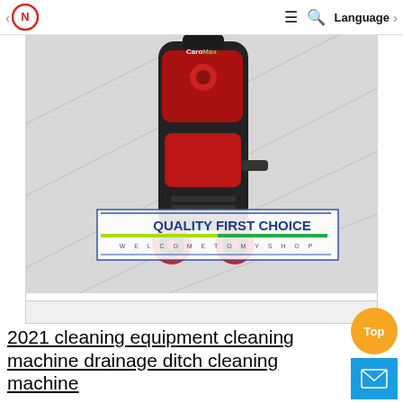Logo | Language
[Figure (photo): Product photo of a red and black pressure washer/cleaning machine on a light grey background, with 'QUALITY FIRST CHOICE / WELCOME TO MY SHOP' banner overlay. CaroMax branding visible.]
2021 cleaning equipment cleaning machine drainage ditch cleaning machine